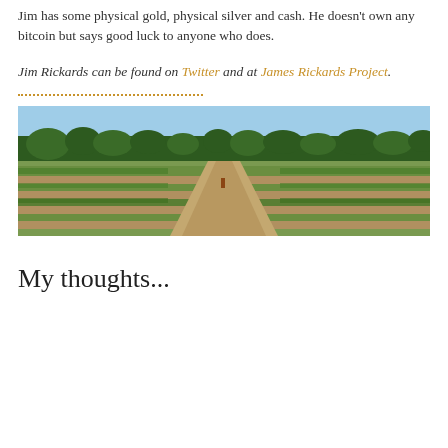Jim has some physical gold, physical silver and cash. He doesn't own any bitcoin but says good luck to anyone who does.
Jim Rickards can be found on Twitter and at James Rickards Project.
[Figure (photo): Panoramic photograph of a farm or vineyard with rows of crops, a dirt path through the middle, trees in the background, and a blue sky.]
My thoughts...